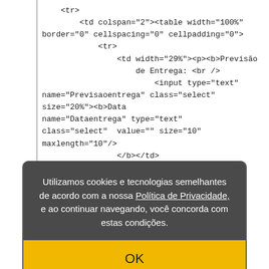<tr>
    <td colspan="2"><table width="100%" border="0" cellspacing="0" cellpadding="0">
        <tr>
            <td width="29%"><p><b>Previsão de Entrega: <br />
                <input type="text" name="Previsaoentrega" class="select" size=".." onkeypress="...">
                </b>
            <td width="20%"><b>Data ...
                name="Dataentrega" type="text" class="select"  value="" size="10" maxlength="10" onkeypress="formatar(this, '##/##/####')"/>
                </b></td>
            <td width="51%"><b>Recebido por:<br />
                <input
Utilizamos cookies e tecnologias semelhantes de acordo com a nossa Política de Privacidade, e ao continuar navegando, você concorda com estas condições.
OK